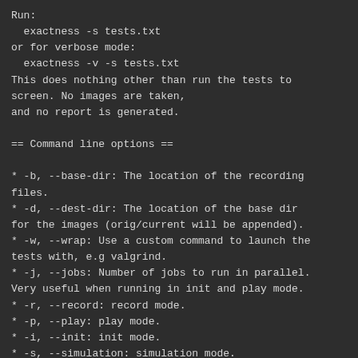Run:
  exactness -s tests.txt
or for verbose mode:
  exactness -v -s tests.txt
This does nothing other than run the tests to
screen. No images are taken,
and no report is generated.

== Command line options ==

* -b, --base-dir: The location of the recording
files.
* -d, --dest-dir: The location of the base dir
for the images (orig/current will be appended).
* -w, --wrap: Use a custom command to launch the
tests with, e.g valgrind.
* -j, --jobs: Number of jobs to run in parallel.
Very useful when running in init and play mode.
* -r, --record: record mode.
* -p, --play: play mode.
* -i, --init: init mode.
* -s, --simulation: simulation mode.
* -v, --verbose: Show cursor location and output